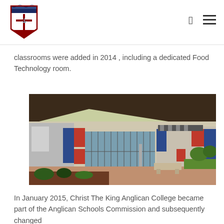Christ The King Anglican College logo and navigation
classrooms were added in 2014 , including a dedicated Food Technology room.
[Figure (photo): Exterior view of a modern school building with red, blue and grey cladding panels, large glass windows, a dark shade sail overhead, paved courtyard, garden beds with plants and stone benches in the foreground.]
In January 2015, Christ The King Anglican College became part of the Anglican Schools Commission and subsequently changed